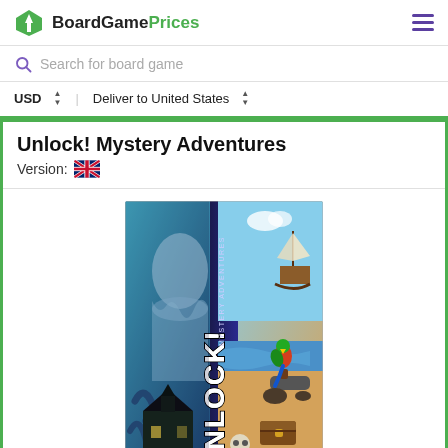BoardGamePrices
Search for board game
USD  Deliver to United States
Unlock! Mystery Adventures
Version: 🇬🇧
[Figure (photo): Box art for Unlock! Mystery Adventures board game showing ghostly and pirate themed collage artwork with the game title 'UNLOCK! MYSTERY ADVENTURES' displayed prominently.]